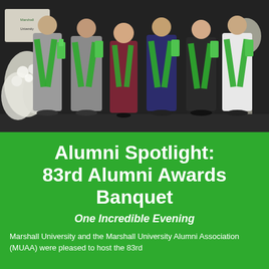[Figure (photo): Group of graduates or award recipients wearing green sashes/stoles, holding trophies or awards, standing in front of a dark backdrop with white floral arrangements on the left side.]
Alumni Spotlight: 83rd Alumni Awards Banquet
One Incredible Evening
Marshall University and the Marshall University Alumni Association (MUAA) were pleased to host the 83rd